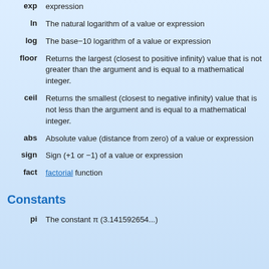exp — expression
ln — The natural logarithm of a value or expression
log — The base−10 logarithm of a value or expression
floor — Returns the largest (closest to positive infinity) value that is not greater than the argument and is equal to a mathematical integer.
ceil — Returns the smallest (closest to negative infinity) value that is not less than the argument and is equal to a mathematical integer.
abs — Absolute value (distance from zero) of a value or expression
sign — Sign (+1 or −1) of a value or expression
fact — factorial function
Constants
pi — The constant π (3.141592654...)